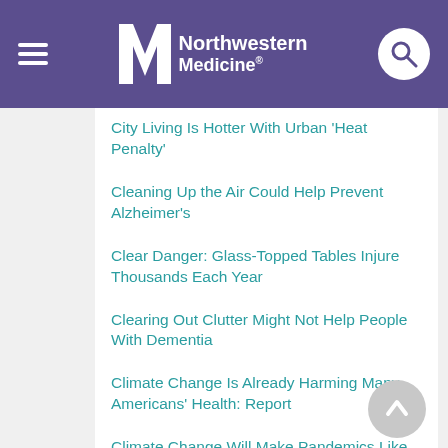Northwestern Medicine
City Living Is Hotter With Urban 'Heat Penalty'
Cleaning Up the Air Could Help Prevent Alzheimer's
Clear Danger: Glass-Topped Tables Injure Thousands Each Year
Clearing Out Clutter Might Not Help People With Dementia
Climate Change Is Already Harming Many Americans' Health: Report
Climate Change Will Make Pandemics Like COVID More Likely: Report
Climate Change Worsens Wildfires, Bringing Poorer Health to All